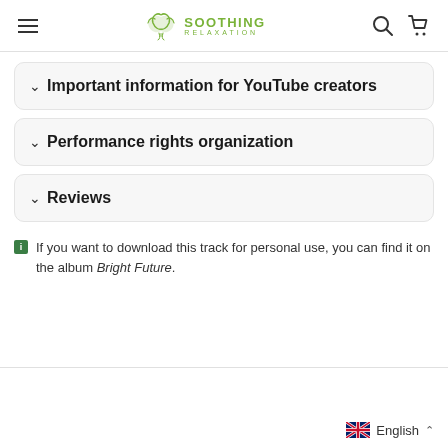Soothing Relaxation
Important information for YouTube creators
Performance rights organization
Reviews
If you want to download this track for personal use, you can find it on the album Bright Future.
English